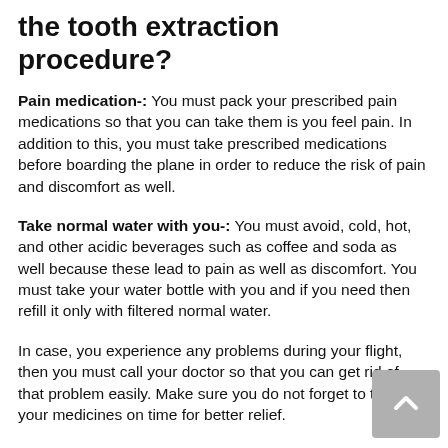the tooth extraction procedure?
Pain medication-: You must pack your prescribed pain medications so that you can take them is you feel pain. In addition to this, you must take prescribed medications before boarding the plane in order to reduce the risk of pain and discomfort as well.
Take normal water with you-: You must avoid, cold, hot, and other acidic beverages such as coffee and soda as well because these lead to pain as well as discomfort. You must take your water bottle with you and if you need then refill it only with filtered normal water.
In case, you experience any problems during your flight, then you must call your doctor so that you can get rid of that problem easily. Make sure you do not forget to take your medicines on time for better relief.